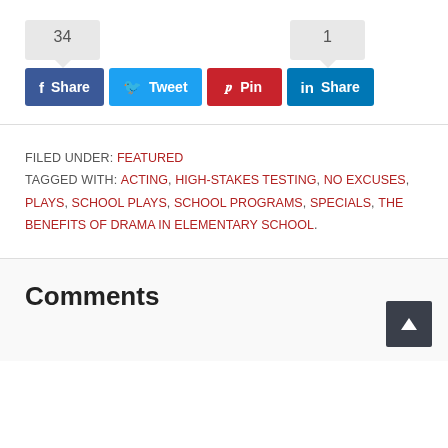[Figure (other): Social share buttons with counts: Facebook Share (34), Twitter Tweet, Pinterest Pin (1), LinkedIn Share]
FILED UNDER: FEATURED
TAGGED WITH: ACTING, HIGH-STAKES TESTING, NO EXCUSES, PLAYS, SCHOOL PLAYS, SCHOOL PROGRAMS, SPECIALS, THE BENEFITS OF DRAMA IN ELEMENTARY SCHOOL
Comments